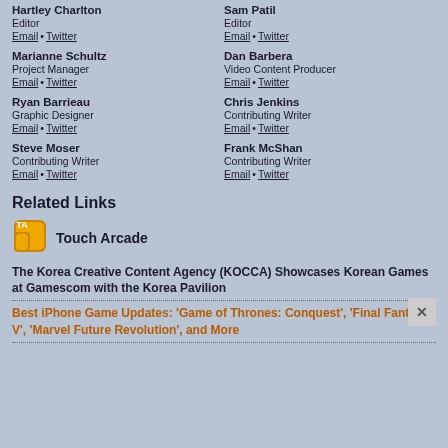Hartley Charlton
Editor
Email • Twitter
Sam Patil
Editor
Email • Twitter
Marianne Schultz
Project Manager
Email • Twitter
Dan Barbera
Video Content Producer
Email • Twitter
Ryan Barrieau
Graphic Designer
Email • Twitter
Chris Jenkins
Contributing Writer
Email • Twitter
Steve Moser
Contributing Writer
Email • Twitter
Frank McShan
Contributing Writer
Email • Twitter
Related Links
[Figure (logo): Touch Arcade logo icon — gold and dark shield/coin icon]
Touch Arcade
The Korea Creative Content Agency (KOCCA) Showcases Korean Games at Gamescom with the Korea Pavilion
Best iPhone Game Updates: 'Game of Thrones: Conquest', 'Final Fantasy V', 'Marvel Future Revolution', and More